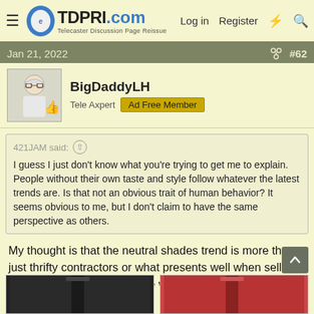TDPRI.com — Telecaster Discussion Page Reissue — Log in  Register
Jan 21, 2022  #62
BigDaddyLH
Tele Axpert  Ad Free Member
421JAM said: ↑
I guess I just don't know what you're trying to get me to explain. People without their own taste and style follow whatever the latest trends are. Is that not an obvious trait of human behavior? It seems obvious to me, but I don't claim to have the same perspective as others.
My thought is that the neutral shades trend is more than just thrifty contractors or what presents well when selling a house. It's what the people want -- given a choice to use colour, they demur.
[Figure (photo): Two guitar images partially visible at bottom of page — left shows a dark/black guitar, right shows a red guitar]
[Figure (photo): Red guitar image partially visible at bottom right]